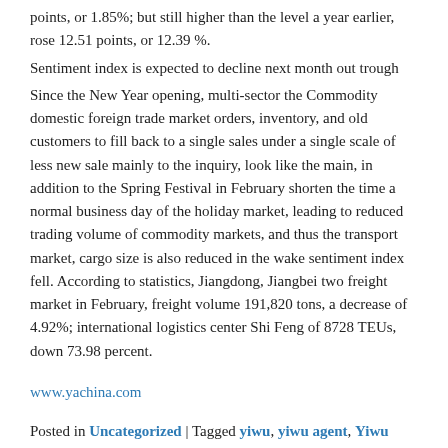points, or 1.85%; but still higher than the level a year earlier, rose 12.51 points, or 12.39 %.
Sentiment index is expected to decline next month out trough
Since the New Year opening, multi-sector the Commodity domestic foreign trade market orders, inventory, and old customers to fill back to a single sales under a single scale of less new sale mainly to the inquiry, look like the main, in addition to the Spring Festival in February shorten the time a normal business day of the holiday market, leading to reduced trading volume of commodity markets, and thus the transport market, cargo size is also reduced in the wake sentiment index fell. According to statistics, Jiangdong, Jiangbei two freight market in February, freight volume 191,820 tons, a decrease of 4.92%; international logistics center Shi Feng of 8728 TEUs, down 73.98 percent.
www.yachina.com
Posted in Uncategorized | Tagged yiwu, yiwu agent, Yiwu International Trade City, yiwu market, yiwumarket | Leave